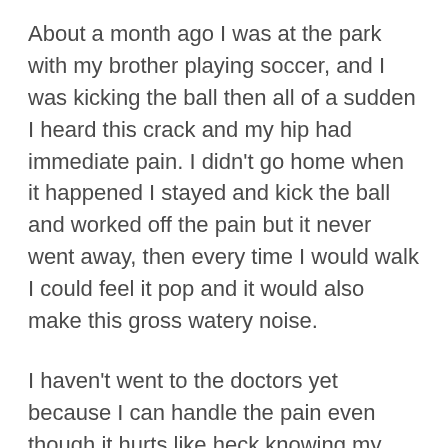About a month ago I was at the park with my brother playing soccer, and I was kicking the ball then all of a sudden I heard this crack and my hip had immediate pain. I didn't go home when it happened I stayed and kick the ball and worked off the pain but it never went away, then every time I would walk I could feel it pop and it would also make this gross watery noise.
I haven't went to the doctors yet because I can handle the pain even though it hurts like heck knowing my parents they won't believe me so they why I don't bother with them. Now most of the time I walk it